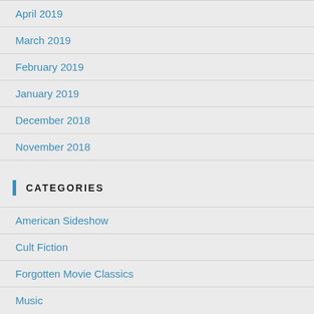April 2019
March 2019
February 2019
January 2019
December 2018
November 2018
CATEGORIES
American Sideshow
Cult Fiction
Forgotten Movie Classics
Music